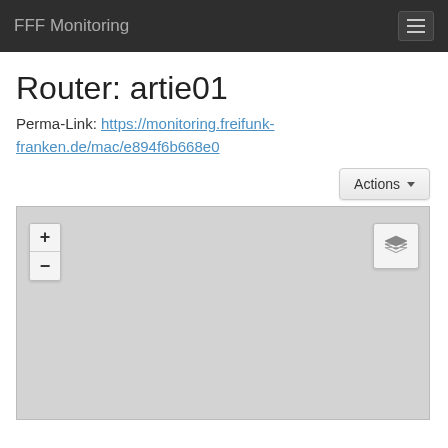FFF Monitoring
Router: artie01
Perma-Link: https://monitoring.freifunk-franken.de/mac/e894f6b668e0
[Figure (map): Interactive map with zoom controls (+/-) and a layer switcher button in the top right. The map background is light gray (tiles not loaded).]